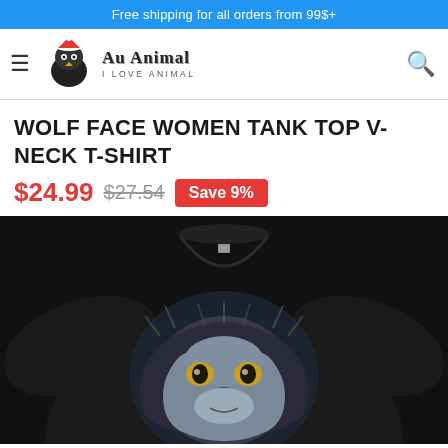Free shipping for all orders from 99$+
[Figure (logo): Au Animal logo with wolf/bird wearing a Santa hat, tagline I LOVE ANIMAL]
WOLF FACE WOMEN TANK TOP V-NECK T-SHIRT
$24.99  $27.54  Save 9%
[Figure (photo): Black v-neck t-shirt with a wolf face graphic design on the front, shown from chest up on white background]